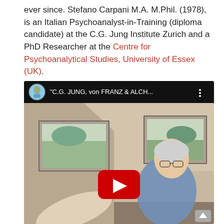ever since. Stefano Carpani M.A. M.Phil. (1978), is an Italian Psychoanalyst-in-Training (diploma candidate) at the C.G. Jung Institute Zurich and a PhD Researcher at the Centre for Psychoanalytical Studies, University of Essex (UK).
[Figure (screenshot): YouTube video thumbnail showing an elderly man gesturing in a room with landscape paintings on the wall. The video title bar reads '"C.G. JUNG, von FRANZ & ALCH...'. A red YouTube play button is overlaid in the center.]